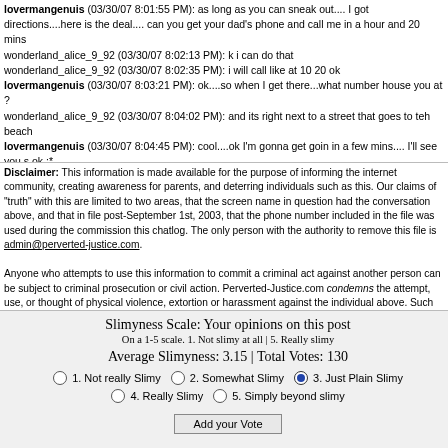lovermangenuis (03/30/07 8:01:55 PM): as long as you can sneak out.... I got directions....here is the deal.... can you get your dad's phone and call me in a hour and 20 mins
wonderland_alice_9_92 (03/30/07 8:02:13 PM): k i can do that
wonderland_alice_9_92 (03/30/07 8:02:35 PM): i will call like at 10 20 ok
lovermangenuis (03/30/07 8:03:21 PM): ok....so when I get there...what number house you at ?
wonderland_alice_9_92 (03/30/07 8:04:02 PM): and its right next to a street that goes to teh beach
lovermangenuis (03/30/07 8:04:45 PM): cool....ok I'm gonna get goin in a few mins.... I'll see you s ok :*
wonderland_alice_9_92 (03/30/07 8:04:58 PM): ok :-)
wonderland_alice_9_92 (03/30/07 8:05:10 PM): i will call in in 1 hr n 20 mins k
lovermangenuis (03/30/07 8:05:20 PM): ok
wonderland_alice_9_92 (03/30/07 8:05:23 PM): :-)
wonderland_alice_9_92 (03/30/07 8:05:30 PM): i cant wait :-) :x
lovermangenuis (03/30/07 8:05:37 PM): me too :)
Disclaimer: This information is made available for the purpose of informing the internet community, creating awareness for parents, and deterring individuals such as this. Our claims of "truth" with this are limited to two areas, that the screen name in question had the conversation above, and that in file post-September 1st, 2003, that the phone number included in the file was used during the commission this chatlog. The only person with the authority to remove this file is admin@perverted-justice.com.
Anyone who attempts to use this information to commit a criminal act against another person can be subject to criminal prosecution or civil action. Perverted-Justice.com condemns the attempt, use, or thought of physical violence, extortion or harassment against the individual above. Such actions are in the spirit of what Perverted-Justice.com is all about and would put your own personal safety at risk.
Slimyness Scale: Your opinions on this post
On a 1-5 scale. 1. Not slimy at all | 5. Really slimy
Average Slimyness: 3.15 | Total Votes: 130
1. Not really Slimy
2. Somewhat Slimy
3. Just Plain Slimy (selected)
4. Really Slimy
5. Simply beyond slimy